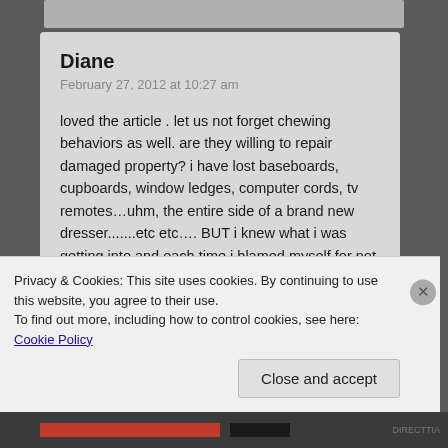[Figure (photo): Top partial image strip, gray background]
Diane
February 27, 2012 at 10:27 am
loved the article . let us not forget chewing behaviors as well. are they willing to repair damaged property? i have lost baseboards, cupboards, window ledges, computer cords, tv remotes...uhm, the entire side of a brand new dresser.......etc etc.... BUT i knew what i was getting into and each time i blamed myself for not being attentive enough. some people would just throw the bird in a cage and lock it there forever creating further issues by causing that bird to scream in frustration or pluck. many people
Privacy & Cookies: This site uses cookies. By continuing to use this website, you agree to their use.
To find out more, including how to control cookies, see here: Cookie Policy
Close and accept